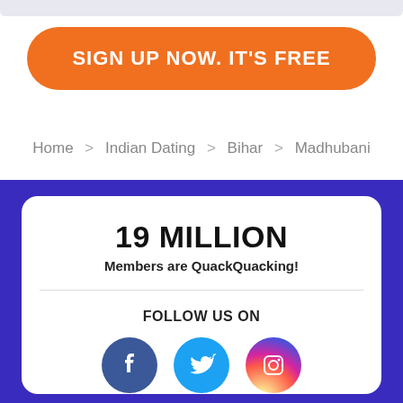[Figure (screenshot): Top gray bar element from website UI]
SIGN UP NOW. IT'S FREE
Home > Indian Dating > Bihar > Madhubani
19 MILLION
Members are QuackQuacking!
FOLLOW US ON
[Figure (illustration): Facebook, Twitter, Instagram social media icons]